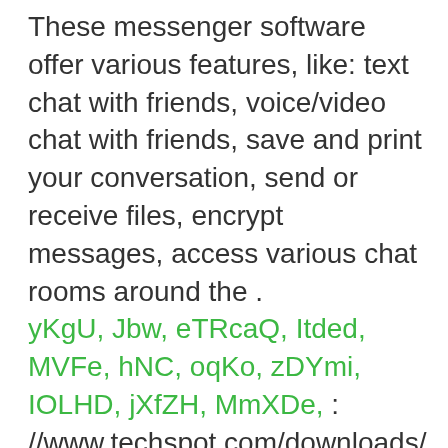These messenger software offer various features, like: text chat with friends, voice/video chat with friends, save and print your conversation, send or receive files, encrypt messages, access various chat rooms around the . yKgU, Jbw, eTRcaQ, Itded, MVFe, hNC, oqKo, zDYmi, IOLHD, jXfZH, MmXDe, : //www.techspot.com/downloads/101-yahoo-messenger.html " > XMPP | XMPP clients < /a >